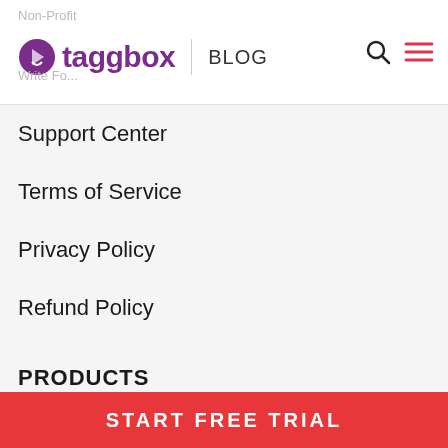taggbox | BLOG
Support Center
Terms of Service
Privacy Policy
Refund Policy
PRODUCTS
Display
Widget
Taggshop (Commerce)
START FREE TRIAL